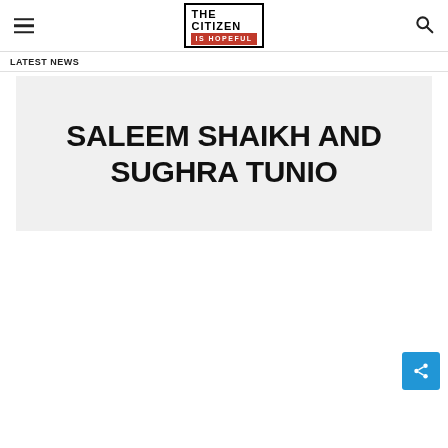THE CITIZEN IS HOPEFUL — navigation header with hamburger menu and search icon
LATEST NEWS
SALEEM SHAIKH AND SUGHRA TUNIO